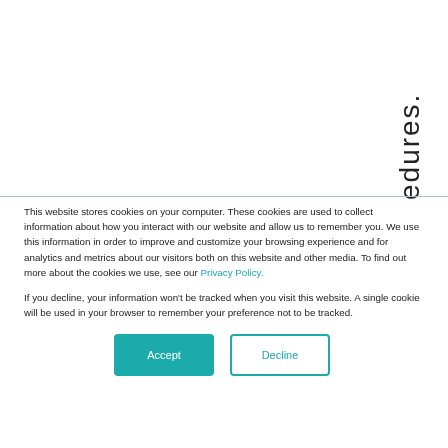edures.
This website stores cookies on your computer. These cookies are used to collect information about how you interact with our website and allow us to remember you. We use this information in order to improve and customize your browsing experience and for analytics and metrics about our visitors both on this website and other media. To find out more about the cookies we use, see our Privacy Policy.
If you decline, your information won't be tracked when you visit this website. A single cookie will be used in your browser to remember your preference not to be tracked.
Accept
Decline